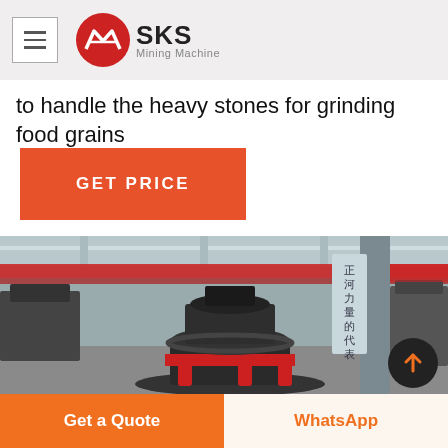SKS Mining Machine
to handle the heavy stones for grinding food grains
GET PRICE
[Figure (photo): Industrial mining machine (cone crusher) inside a large factory/warehouse with red overhead crane beams, Chinese signage on a pillar, and red accent components on the machinery.]
Get a Quote
WhatsApp